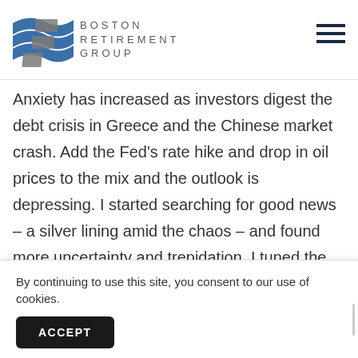[Figure (logo): Boston Retirement Group logo with blue wave graphic and gray text reading BOSTON RETIREMENT GROUP]
Anxiety has increased as investors digest the debt crisis in Greece and the Chinese market crash. Add the Fed’s rate hike and drop in oil prices to the mix and the outlook is depressing. I started searching for good news – a silver lining amid the chaos – and found more uncertainty and trepidation. I tuned the scaremongers out long ago; you can only cry wolf so m... e... W...
By continuing to use this site, you consent to our use of cookies.
ACCEPT